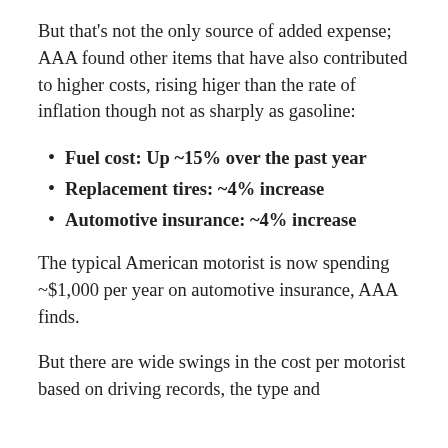But that's not the only source of added expense; AAA found other items that have also contributed to higher costs, rising higer than the rate of inflation though not as sharply as gasoline:
Fuel cost: Up ~15% over the past year
Replacement tires: ~4% increase
Automotive insurance: ~4% increase
The typical American motorist is now spending ~$1,000 per year on automotive insurance, AAA finds.
But there are wide swings in the cost per motorist based on driving records, the type and